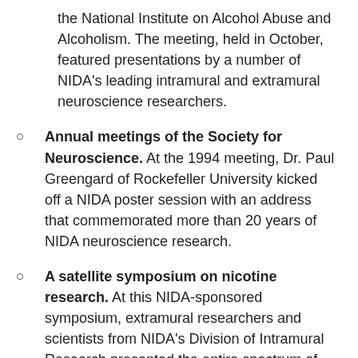the National Institute on Alcohol Abuse and Alcoholism. The meeting, held in October, featured presentations by a number of NIDA's leading intramural and extramural neuroscience researchers.
Annual meetings of the Society for Neuroscience. At the 1994 meeting, Dr. Paul Greengard of Rockefeller University kicked off a NIDA poster session with an address that commemorated more than 20 years of NIDA neuroscience research.
A satellite symposium on nicotine research. At this NIDA-sponsored symposium, extramural researchers and scientists from NIDA's Division of Intramural Research presented the entire spectrum of NIDA's nicotine research from the molecular biology of nicotinic receptors through behavioral and pharmacological treatment of nicotine addiction.